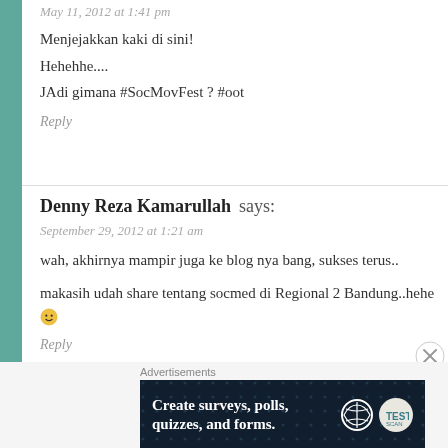May 11, 2012 at 1:41 pm
Menjejakkan kaki di sini!
Hehehhe....
JAdi gimana #SocMovFest ? #oot
Reply
Denny Reza Kamarullah says:
September 29, 2012 at 1:21 am
wah, akhirnya mampir juga ke blog nya bang, sukses terus..
makasih udah share tentang socmed di Regional 2 Bandung..hehe 🙂
Reply
[Figure (infographic): Advertisement banner: 'Create surveys, polls, quizzes, and forms.' with WordPress and another logo on dark navy background]